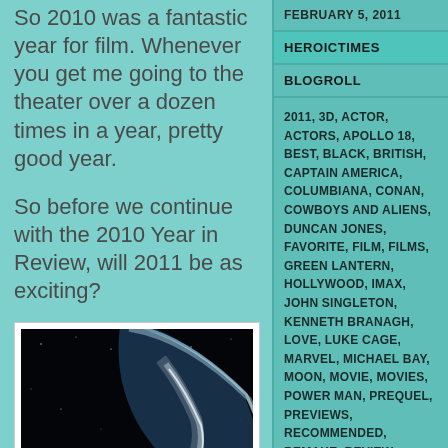So 2010 was a fantastic year for film. Whenever you get me going to the theater over a dozen times in a year, pretty good year.
So before we continue with the 2010 Year in Review, will 2011 be as exciting?
[Figure (photo): Movie poster for 'LOVE' (2011 film) showing an astronaut sitting on a bench in space with a planet arc and starfield in the background. Bottom text includes cast/crew credits.]
FEBRUARY 5, 2011
HEROICTIMES
BLOGROLL
2011, 3D, ACTOR, ACTORS, APOLLO 18, BEST, BLACK, BRITISH, CAPTAIN AMERICA, COLUMBIANA, CONAN, COWBOYS AND ALIENS, DUNCAN JONES, FAVORITE, FILM, FILMS, GREEN LANTERN, HOLLYWOOD, IMAX, JOHN SINGLETON, KENNETH BRANAGH, LOVE, LUKE CAGE, MARVEL, MICHAEL BAY, MOON, MOVIE, MOVIES, POWER MAN, PREQUEL, PREVIEWS, RECOMMENDED, REMAKE, REVIEW